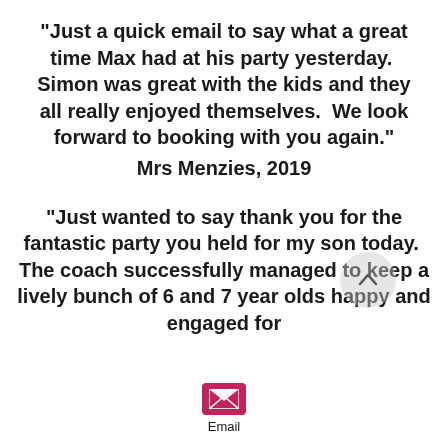"Just a quick email to say what a great time Max had at his party yesterday.  Simon was great with the kids and they all really enjoyed themselves.  We look forward to booking with you again."
Mrs Menzies, 2019
"Just wanted to say thank you for the fantastic party you held for my son today.  The coach successfully managed to keep a lively bunch of 6 and 7 year olds happy and engaged for
[Figure (other): Pink/magenta email envelope icon with the label 'Email' beneath it]